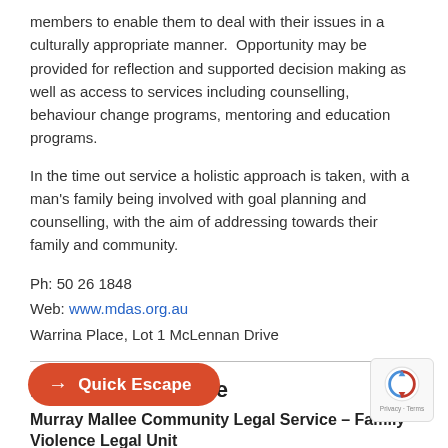members to enable them to deal with their issues in a culturally appropriate manner. Opportunity may be provided for reflection and supported decision making as well as access to services including counselling, behaviour change programs, mentoring and education programs.
In the time out service a holistic approach is taken, with a man's family being involved with goal planning and counselling, with the aim of addressing towards their family and community.
Ph: 50 26 1848
Web: www.mdas.org.au
Warrina Place, Lot 1 McLennan Drive
Mallee Family Care
Murray Mallee Community Legal Service – Family Violence Legal Unit
→ Quick Escape
lence Unit Solicitor is collocated with Mallee Domestic Violence Service and works to support victims